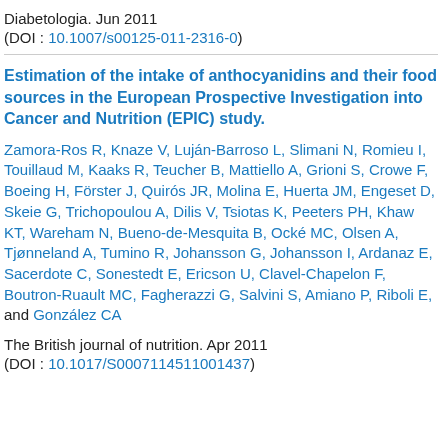Diabetologia. Jun 2011
(DOI : 10.1007/s00125-011-2316-0)
Estimation of the intake of anthocyanidins and their food sources in the European Prospective Investigation into Cancer and Nutrition (EPIC) study.
Zamora-Ros R, Knaze V, Luján-Barroso L, Slimani N, Romieu I, Touillaud M, Kaaks R, Teucher B, Mattiello A, Grioni S, Crowe F, Boeing H, Förster J, Quirós JR, Molina E, Huerta JM, Engeset D, Skeie G, Trichopoulou A, Dilis V, Tsiotas K, Peeters PH, Khaw KT, Wareham N, Bueno-de-Mesquita B, Ocké MC, Olsen A, Tjønneland A, Tumino R, Johansson G, Johansson I, Ardanaz E, Sacerdote C, Sonestedt E, Ericson U, Clavel-Chapelon F, Boutron-Ruault MC, Fagherazzi G, Salvini S, Amiano P, Riboli E, and González CA
The British journal of nutrition. Apr 2011
(DOI : 10.1017/S0007114511001437)